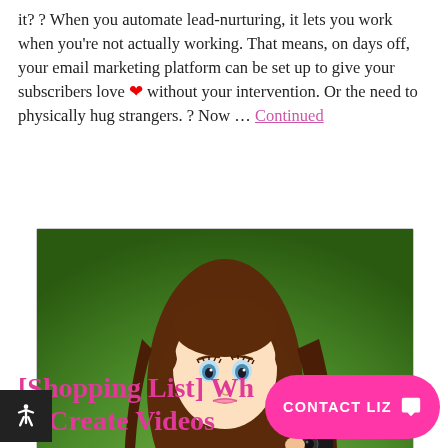it?? When you automate lead-nurturing, it lets you work when you're not actually working. That means, on days off, your email marketing platform can be set up to give your subscribers love ❤ without your intervention. Or the need to physically hug strangers. ? Now … Continued
[Figure (photo): A Barbie doll in a pink dress holding a camera, posed against a green grass background]
[Shopping List] Wh… to Create Videos
CONTACT LIZ